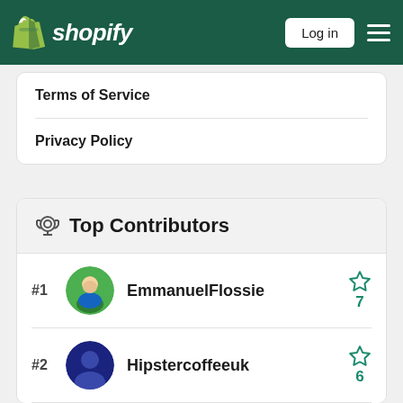Shopify — Log in
Terms of Service
Privacy Policy
Top Contributors
#1 EmmanuelFlossie — 7 stars
#2 Hipstercoffeeuk — 6 stars